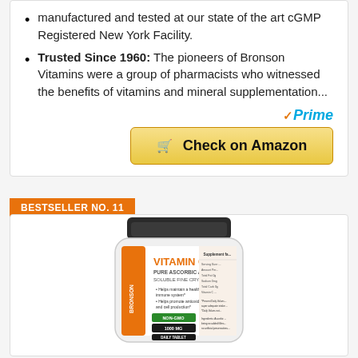manufactured and tested at our state of the art cGMP Registered New York Facility.
Trusted Since 1960: The pioneers of Bronson Vitamins were a group of pharmacists who witnessed the benefits of vitamins and mineral supplementation...
✓Prime
🛒 Check on Amazon
BESTSELLER NO. 11
[Figure (photo): Bronson Vitamin C Pure Ascorbic Acid Soluble Fine Crystals supplement jar with dark lid, white label showing orange and black text]